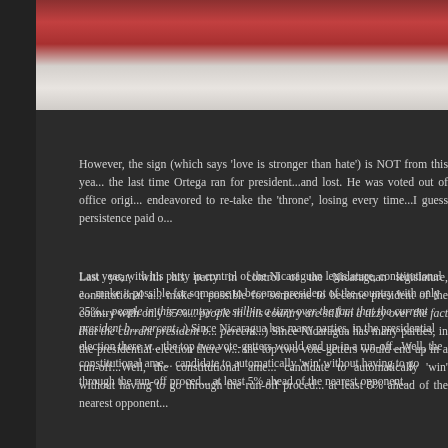[Figure (photo): Partial view of a red/pink sign or mural with some stone or concrete surface visible at bottom]
However, the sign (which says 'love is stronger than hate') is NOT from this yea... the last time Ortega ran for president...and lost. He was voted out of office origi... endeavored to re-take the 'throne', losing every time...I guess persistence paid o...
Last year, with his party in control of the Nicaraguan legislature, constitutional a... make it possible for someone to become president of the country with only 35%... people in this country are still in a tizzy over the fact that the current president b... percent...) Since Nicaragua has many parties, in the presidential election there w... the top two vote-getters would end up in a run-off...Well, the constitutional ame... candidate to automatically 'win' without having to go through the run-off proced... at least 5% ahead of the nearest opponent...
And that's what happened.
The weeks and months ahead should be interesting, to say the least.
Many Nicaraguans are afraid the U.S. will again try to interfere, perhaps blocka... fact that Ortega is a buen amigo of Venezuela's Hugo Chavez doesn't help...
Surprisingly, though--despite the years of foreign intervention in Nicaragua by t... friendly to American visitors and residents. (Thousands of Yankee ex-pats now b... buying up the old colonial real estate and pricing out the locals, and in the surfir...